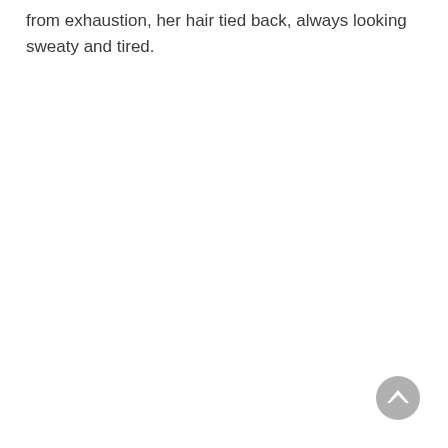from exhaustion, her hair tied back, always looking sweaty and tired.
[Figure (other): A circular scroll-to-top button with a grey background and a white upward-pointing chevron arrow, positioned at the bottom right of the page.]